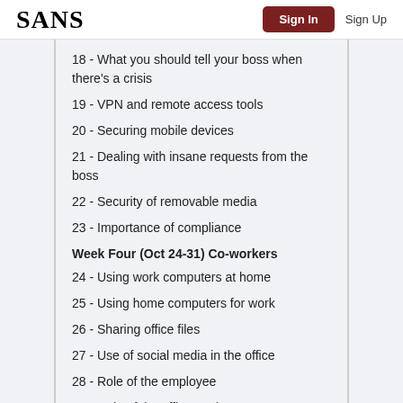SANS | Sign In | Sign Up
18 - What you should tell your boss when there's a crisis
19 - VPN and remote access tools
20 - Securing mobile devices
21 - Dealing with insane requests from the boss
22 - Security of removable media
23 - Importance of compliance
Week Four (Oct 24-31) Co-workers
24 - Using work computers at home
25 - Using home computers for work
26 - Sharing office files
27 - Use of social media in the office
28 - Role of the employee
29 - Role of the office geek